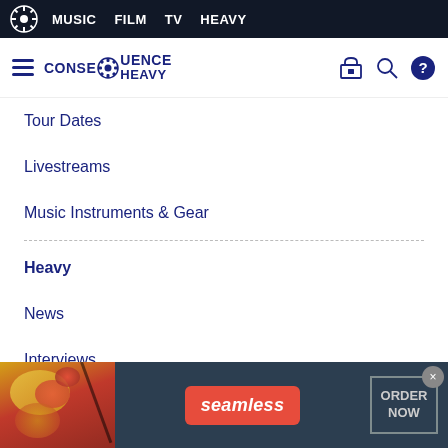MUSIC  FILM  TV  HEAVY
[Figure (logo): Consequence Heavy logo with gear icon and site navigation icons]
Tour Dates
Livestreams
Music Instruments & Gear
Heavy
News
Interviews
Concerts
[Figure (infographic): Seamless food delivery advertisement banner with pizza image, seamless logo in red, and ORDER NOW button]